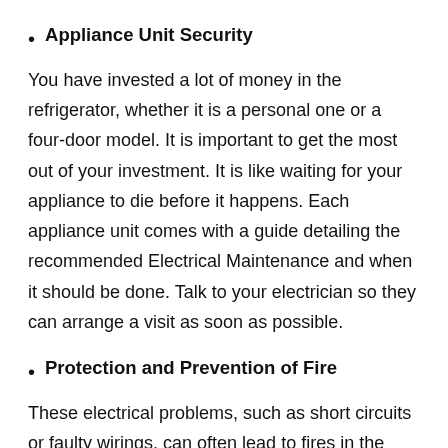Appliance Unit Security
You have invested a lot of money in the refrigerator, whether it is a personal one or a four-door model. It is important to get the most out of your investment. It is like waiting for your appliance to die before it happens. Each appliance unit comes with a guide detailing the recommended Electrical Maintenance and when it should be done. Talk to your electrician so they can arrange a visit as soon as possible.
Protection and Prevention of Fire
These electrical problems, such as short circuits or faulty wirings, can often lead to fires in the home. Overused electrical wiring, fixtures, and outdated electrical installations are the main problems to watch out for. An annual inspection of the electrical system is the best way to ensure safety in